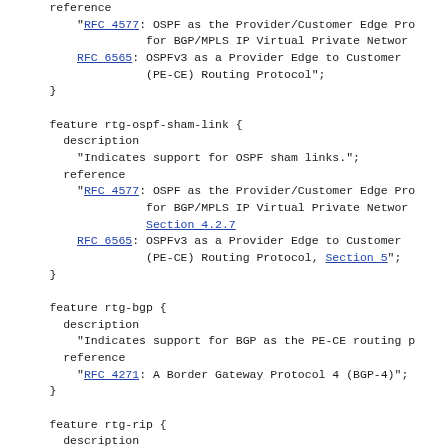reference
"RFC 4577: OSPF as the Provider/Customer Edge Pro for BGP/MPLS IP Virtual Private Networ
RFC 6565: OSPFv3 as a Provider Edge to Customer (PE-CE) Routing Protocol";
}

feature rtg-ospf-sham-link {
  description
    "Indicates support for OSPF sham links.";
  reference
    "RFC 4577: OSPF as the Provider/Customer Edge Pro for BGP/MPLS IP Virtual Private Networ Section 4.2.7
    RFC 6565: OSPFv3 as a Provider Edge to Customer (PE-CE) Routing Protocol, Section 5";
}

feature rtg-bgp {
  description
    "Indicates support for BGP as the PE-CE routing p
  reference
    "RFC 4271: A Border Gateway Protocol 4 (BGP-4)";
}

feature rtg-rip {
  description
    "Indicates support for RIP as the PE-CE routing p
  reference
    "RFC 2453: RIP Version 2